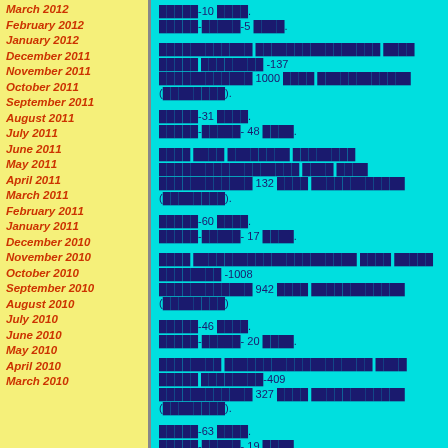March 2012
February 2012
January 2012
December 2011
November 2011
October 2011
September 2011
August 2011
July 2011
June 2011
May 2011
April 2011
March 2011
February 2011
January 2011
December 2010
November 2010
October 2010
September 2010
August 2010
July 2010
June 2010
May 2010
April 2010
March 2010
█████-10 ████.
█████-█████-5 ████.
████████████ ████████████████ ████ █████ ████████ -137
████████████ 1000 ████ ████████████ (████████).
█████-31 ████.
█████-█████- 48 ████.
████ ████ ████████ ████████ ██████████████████ ████ ████
████████████ 132 ████ ████████████ (████████).
█████-60 ████.
█████-█████- 17 ████.
████ ███████████████████ ████ █████ ████████ -1008
████████████ 942 ████ ████████████ (████████)
█████-46 ████.
█████-█████- 20 ████.
████████ ███████████████████ ████ █████ ████████-409
████████████ 327 ████ ████████████ (████████).
█████-63 ████.
█████-█████- 19 ████.